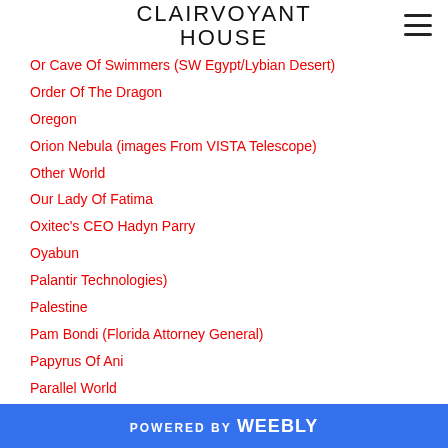CLAIRVOYANT HOUSE
Or Cave Of Swimmers (SW Egypt/Lybian Desert)
Order Of The Dragon
Oregon
Orion Nebula (images From VISTA Telescope)
Other World
Our Lady Of Fatima
Oxitec's CEO Hadyn Parry
Oyabun
Palantir Technologies)
Palestine
Pam Bondi (Florida Attorney General)
Papyrus Of Ani
Parallel World
Paro Taktsang (Tiger's Nest)
Past
POWERED BY weebly